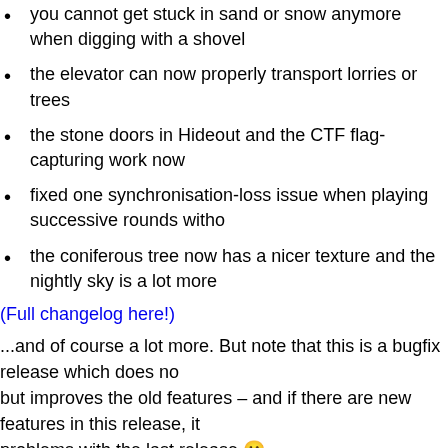you cannot get stuck in sand or snow anymore when digging with a shovel
the elevator can now properly transport lorries or trees
the stone doors in Hideout and the CTF flag-capturing work now
fixed one synchronisation-loss issue when playing successive rounds witho...
the coniferous tree now has a nicer texture and the nightly sky is a lot more...
(Full changelog here!)
...and of course a lot more. But note that this is a bugfix release which does no... but improves the old features – and if there are new features in this release, it... problems with the last release 🙂
And as always: if you find bugs or have suggestions, feel free to put them into... forum.
See you ingame!
OpenClonk 3.0 released!